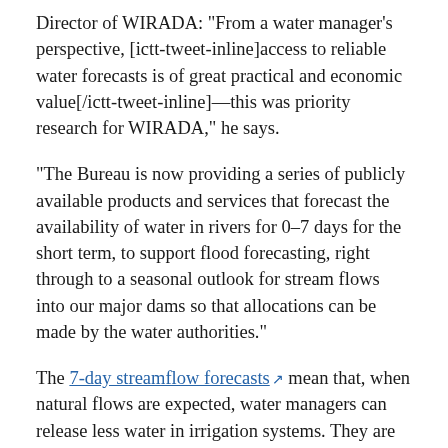Director of WIRADA: “From a water manager’s perspective, [ictt-tweet-inline]access to reliable water forecasts is of great practical and economic value[/ictt-tweet-inline]—this was priority research for WIRADA,” he says.
“The Bureau is now providing a series of publicly available products and services that forecast the availability of water in rivers for 0–7 days for the short term, to support flood forecasting, right through to a seasonal outlook for stream flows into our major dams so that allocations can be made by the water authorities.”
The 7-day streamflow forecasts [external link icon] mean that, when natural flows are expected, water managers can release less water in irrigation systems. They are also better informed in meeting the high and low flow needs of rivers and wetlands. Reservoir operators are also better informed and farmers can make more informed